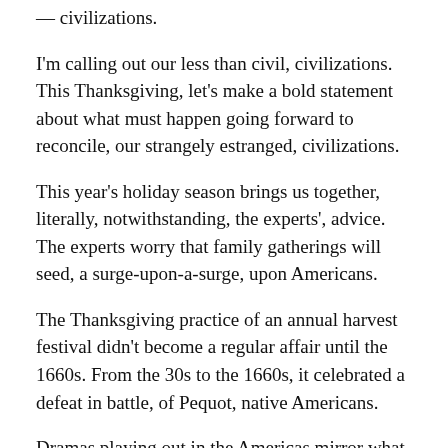— civilizations.
I'm calling out our less than civil, civilizations. This Thanksgiving, let's make a bold statement about what must happen going forward to reconcile, our strangely estranged, civilizations.
This year's holiday season brings us together, literally, notwithstanding, the experts', advice. The experts worry that family gatherings will seed, a surge-upon-a-surge, upon Americans.
The Thanksgiving practice of an annual harvest festival didn't become a regular affair until the 1660s. From the 30s to the 1660s, it celebrated a defeat in battle, of Pequot, native Americans.
Dramas playing out in the Americas mirror what has